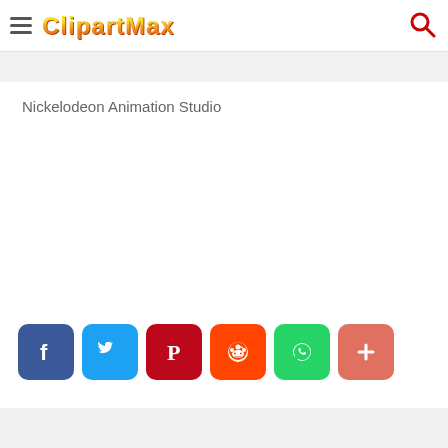ClipartMax
Nickelodeon Animation Studio
[Figure (other): Social sharing buttons row: Facebook, Twitter, Pinterest, Reddit, WhatsApp, More]